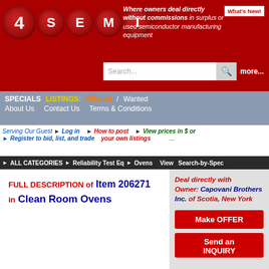[Figure (logo): 4SEMI logo with red circles on dark red background]
Where owners deal directly without commissions in surplus or used semiconductor manufacturing equipment
What's New!
Search...  more...
SPECIALS  LISTINGS: Offered / Wanted  About Us  Contact Us  Terms & Conditions
Serving Our Guest  Log in  How to post your own listings  View prices in $ or ...  Register to bid, list, and trade
ALL CATEGORIES  Reliability Test Eq  Ovens  View  Search-by-Spec
FULL DESCRIPTION of Item 206271 in Clean Room Ovens
Deal directly with Owner: Capovani Brothers Inc. of Scotia, New York
Make OFFER
Send an INQUIRY